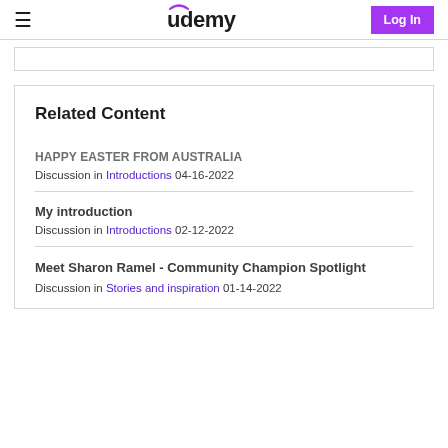≡  udemy   Log In
Related Content
HAPPY EASTER FROM AUSTRALIA
Discussion in Introductions 04-16-2022
My introduction
Discussion in Introductions 02-12-2022
Meet Sharon Ramel - Community Champion Spotlight
Discussion in Stories and inspiration 01-14-2022